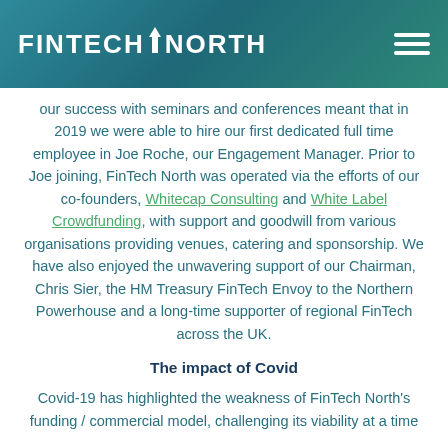FINTECHNORTH
our success with seminars and conferences meant that in 2019 we were able to hire our first dedicated full time employee in Joe Roche, our Engagement Manager. Prior to Joe joining, FinTech North was operated via the efforts of our co-founders, Whitecap Consulting and White Label Crowdfunding, with support and goodwill from various organisations providing venues, catering and sponsorship. We have also enjoyed the unwavering support of our Chairman, Chris Sier, the HM Treasury FinTech Envoy to the Northern Powerhouse and a long-time supporter of regional FinTech across the UK.
The impact of Covid
Covid-19 has highlighted the weakness of FinTech North's funding / commercial model, challenging its viability at a time